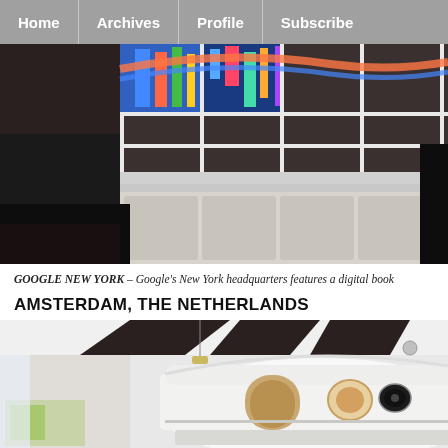Home | Archives | Profile | Subscribe
[Figure (photo): Interior of Google New York office showing a digital bookshelf display with colorful images behind white-paneled windows in a dark room]
GOOGLE NEW YORK – Google's New York headquarters features a digital book
AMSTERDAM, THE NETHERLANDS
[Figure (photo): Interior of Google Amsterdam office featuring a white vintage-style caravan/trailer used as a meeting pod, with dark angular ceiling panels and colorful open workspace in background]